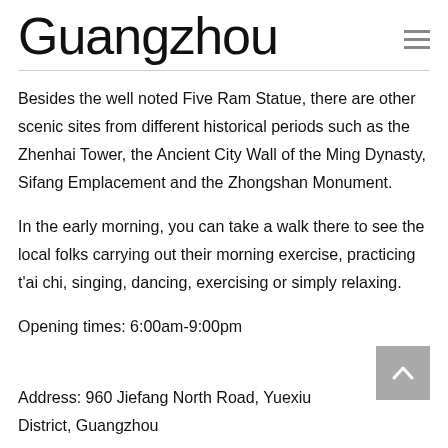Guangzhou
Besides the well noted Five Ram Statue, there are other scenic sites from different historical periods such as the Zhenhai Tower, the Ancient City Wall of the Ming Dynasty, Sifang Emplacement and the Zhongshan Monument.
In the early morning, you can take a walk there to see the local folks carrying out their morning exercise, practicing t'ai chi, singing, dancing, exercising or simply relaxing.
Opening times: 6:00am-9:00pm
Address: 960 Jiefang North Road, Yuexiu District, Guangzhou